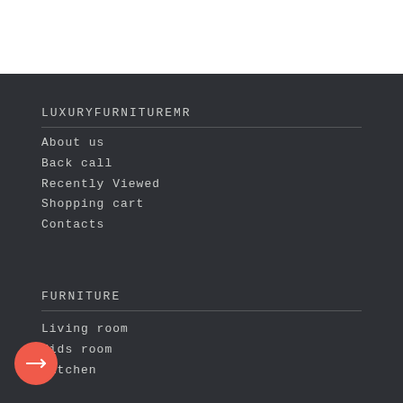LUXURYFURNITUREMR
About us
Back call
Recently Viewed
Shopping cart
Contacts
FURNITURE
Living room
Kids room
Kitchen